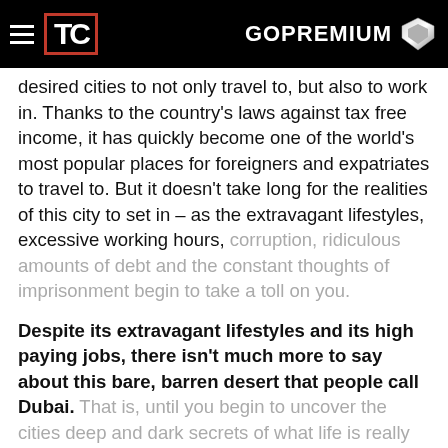TC GOPREMIUM
desired cities to not only travel to, but also to work in. Thanks to the country's laws against tax free income, it has quickly become one of the world's most popular places for foreigners and expatriates to travel to. But it doesn't take long for the realities of this city to set in – as the extravagant lifestyles, excessive working hours, corruption, ridiculous amounts of debt and the constant thoughts of imprisonment begin to take a toll on you.
Despite its extravagant lifestyles and its high paying jobs, there isn't much more to say about this bare, barren desert that people call Dubai. That is, until you begin to uncover the cities deep and dark secrets of what life is really like when living in this infamous city – something that the Dubai government doesn't want the general population to know. These shocking realities